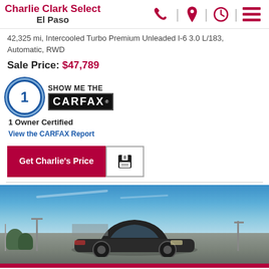Charlie Clark Select El Paso
42,325 mi, Intercooled Turbo Premium Unleaded I-6 3.0 L/183, Automatic, RWD
Sale Price: $47,789
[Figure (logo): CARFAX 1 Owner Certified badge with Show Me The CARFAX logo]
1 Owner Certified
View the CARFAX Report
Get Charlie's Price
[Figure (photo): Outdoor photo of a dark-colored vehicle at a car dealership lot with blue sky background]